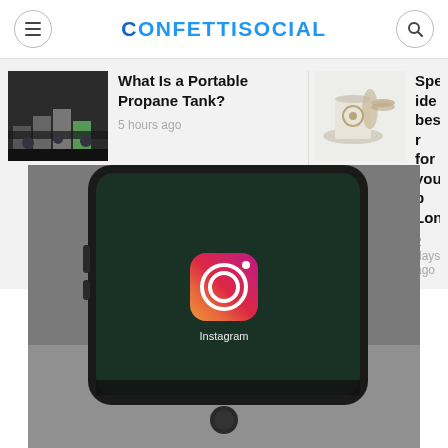CONFETTISOCIAL
What Is a Portable Propane Tank?
5 hours ago
Special ide bespoke r for your p London
2 days ago
[Figure (photo): Close-up of a smartphone showing the Instagram app icon on screen]